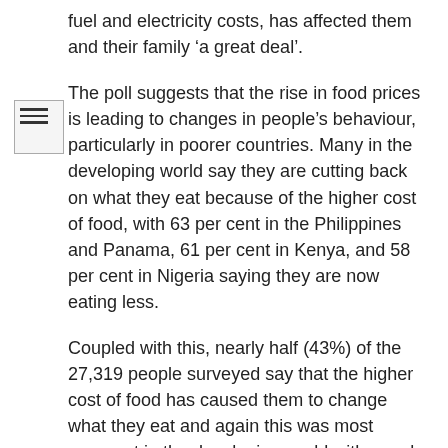fuel and electricity costs, has affected them and their family ‘a great deal’.
The poll suggests that the rise in food prices is leading to changes in people’s behaviour, particularly in poorer countries. Many in the developing world say they are cutting back on what they eat because of the higher cost of food, with 63 per cent in the Philippines and Panama, 61 per cent in Kenya, and 58 per cent in Nigeria saying they are now eating less.
Coupled with this, nearly half (43%) of the 27,319 people surveyed say that the higher cost of food has caused them to change what they eat and again this was most apparent in the developing world with people in Panama (71%), Egypt (67%), Kenya (64%), and the Philippines (63%) among the most likely to have changed their diet.